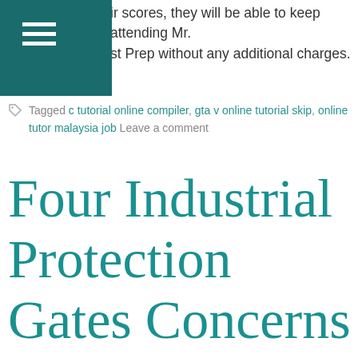ir scores, they will be able to keep attending Mr. st Prep without any additional charges.
Tagged c tutorial online compiler, gta v online tutorial skip, online tutor malaysia job Leave a comment
Four Industrial Protection Gates Concerns To aid Information